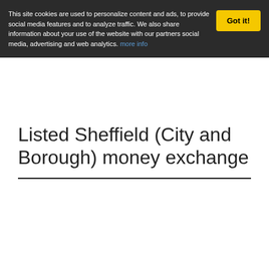This site cookies are used to personalize content and ads, to provide social media features and to analyze traffic. We also share information about your use of the website with our partners social media, advertising and web analytics. more info
Listed Sheffield (City and Borough) money exchange